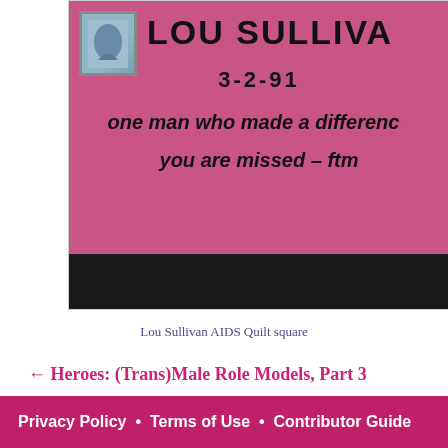[Figure (photo): Photograph of a Lou Sullivan AIDS Quilt square. Pink/magenta fabric with bold black text reading 'LOU SULLIVAN', '3-2-91', 'one man who made a difference', 'you are missed – ftm'. A small postage stamp image is visible in the upper left corner of the quilt panel.]
Lou Sullivan AIDS Quilt square
← Heroes: (Trans)Male Role Models, Part 3
Privacy Policy  •  Terms of Use  •  Contributor Guide